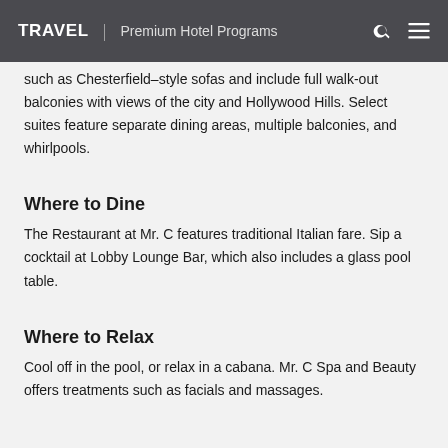TRAVEL | Premium Hotel Programs
such as Chesterfield–style sofas and include full walk-out balconies with views of the city and Hollywood Hills. Select suites feature separate dining areas, multiple balconies, and whirlpools.
Where to Dine
The Restaurant at Mr. C features traditional Italian fare. Sip a cocktail at Lobby Lounge Bar, which also includes a glass pool table.
Where to Relax
Cool off in the pool, or relax in a cabana. Mr. C Spa and Beauty offers treatments such as facials and massages.